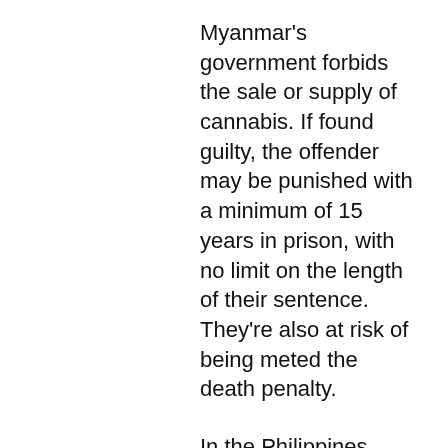Myanmar's government forbids the sale or supply of cannabis. If found guilty, the offender may be punished with a minimum of 15 years in prison, with no limit on the length of their sentence. They're also at risk of being meted the death penalty.
In the Philippines, consuming and possessing cannabis, even in small amounts, is punishable by imprisonment and fines of up to P10 million under Republic Act 9165 or the Comprehensive Dangerous Drugs Act of 2002.
Chuck Manansala, president of Masikhay Research, a medical cannabis research center based in the